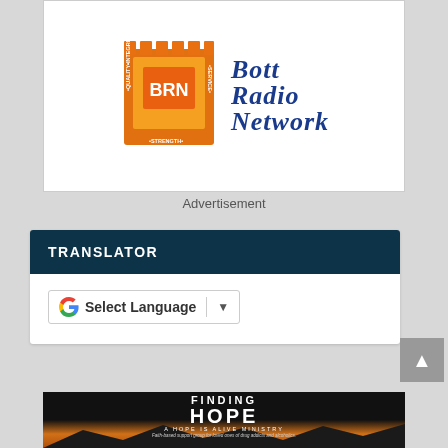[Figure (logo): Bott Radio Network (BRN) logo with orange/yellow castle-like emblem and blue serif text reading BOTT RADIO NETWORK with words INTEGRITY, QUALITY, STRENGTH, SERVICE around the emblem]
Advertisement
TRANSLATOR
[Figure (screenshot): Google Translate widget button showing Google G logo, 'Select Language' text, a vertical divider, and a dropdown arrow]
[Figure (illustration): Finding Hope - A Hope Is Alive Ministry banner. Dark background with mountain silhouette and sunset gradient. Bold white text reads FINDING HOPE with heartbeat symbol in O, subtitle A HOPE IS ALIVE MINISTRY, and small text Faith-based support group for loved ones of drug addicts and alcoholics.]